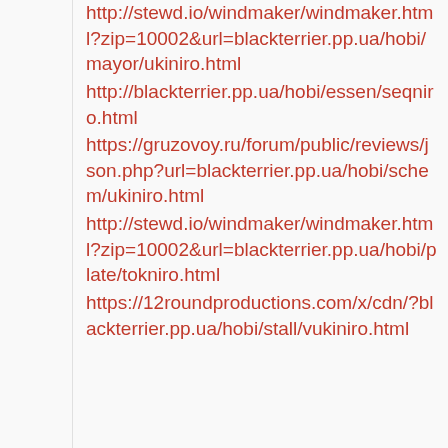http://stewd.io/windmaker/windmaker.html?zip=10002&url=blackterrier.pp.ua/hobi/mayor/ukiniro.html
http://blackterrier.pp.ua/hobi/essen/seqniro.html
https://gruzovoy.ru/forum/public/reviews/json.php?url=blackterrier.pp.ua/hobi/schem/ukiniro.html
http://stewd.io/windmaker/windmaker.html?zip=10002&url=blackterrier.pp.ua/hobi/plate/tokniro.html
https://12roundproductions.com/x/cdn/?blackterrier.pp.ua/hobi/stall/vukiniro.html